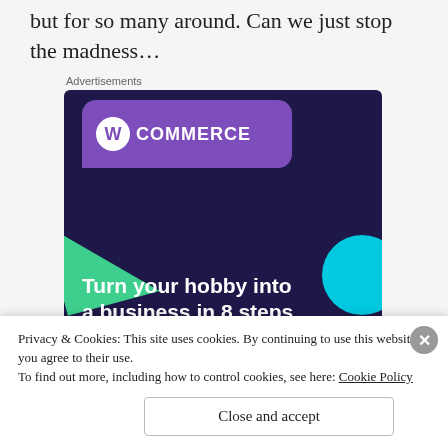but for so many around. Can we just stop the madness…
Advertisements
[Figure (illustration): WooCommerce advertisement banner with dark purple background, purple speech-bubble card with WooCommerce logo, green triangle shape, teal circle, and white bold text reading 'Turn your hobby into a business in 8 steps']
Privacy & Cookies: This site uses cookies. By continuing to use this website, you agree to their use.
To find out more, including how to control cookies, see here: Cookie Policy
Close and accept